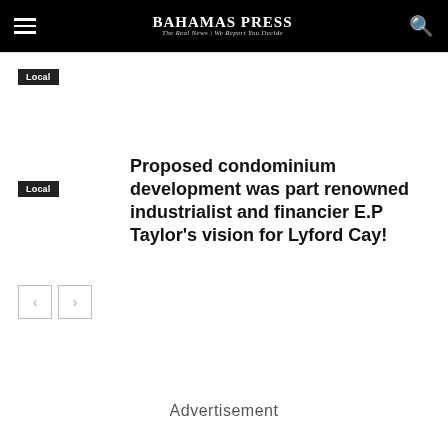Bahamas Press – The Real News | We Report You Decide
Local
Local
Proposed condominium development was part renowned industrialist and financier E.P Taylor's vision for Lyford Cay!
Advertisement